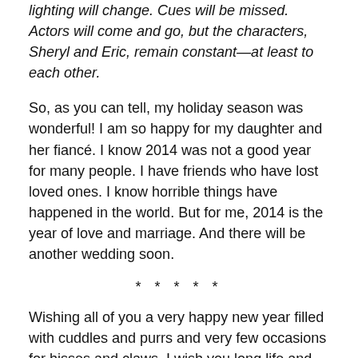lighting will change. Cues will be missed. Actors will come and go, but the characters, Sheryl and Eric, remain constant—at least to each other.
So, as you can tell, my holiday season was wonderful! I am so happy for my daughter and her fiancé. I know 2014 was not a good year for many people. I have friends who have lost loved ones. I know horrible things have happened in the world. But for me, 2014 is the year of love and marriage. And there will be another wedding soon.
* * * * *
Wishing all of you a very happy new year filled with cuddles and purrs and very few occasions for hisses and claws. I wish you long life and happiness. I wish all of you the ability to take joy in old traditions and/or the ability to create new ones. I wish for you to receive at least one